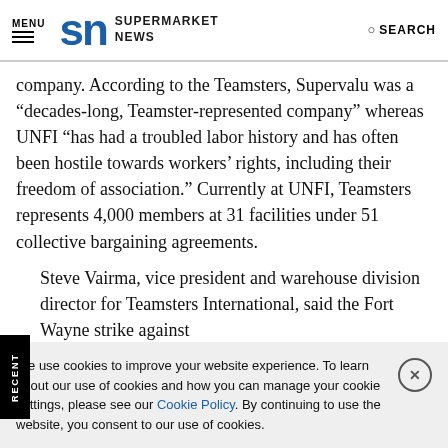MENU | SN SUPERMARKET NEWS | SEARCH
company. According to the Teamsters, Supervalu was a “decades-long, Teamster-represented company” whereas UNFI “has had a troubled labor history and has often been hostile towards workers’ rights, including their freedom of association.” Currently at UNFI, Teamsters represents 4,000 members at 31 facilities under 51 collective bargaining agreements.
Steve Vairma, vice president and warehouse division director for Teamsters International, said the Fort Wayne strike against
We use cookies to improve your website experience. To learn about our use of cookies and how you can manage your cookie settings, please see our Cookie Policy. By continuing to use the website, you consent to our use of cookies.